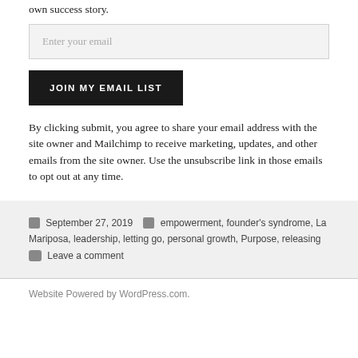own success story.
Enter your email
JOIN MY EMAIL LIST
By clicking submit, you agree to share your email address with the site owner and Mailchimp to receive marketing, updates, and other emails from the site owner. Use the unsubscribe link in those emails to opt out at any time.
September 27, 2019  empowerment, founder's syndrome, La Mariposa, leadership, letting go, personal growth, Purpose, releasing  Leave a comment
Website Powered by WordPress.com.